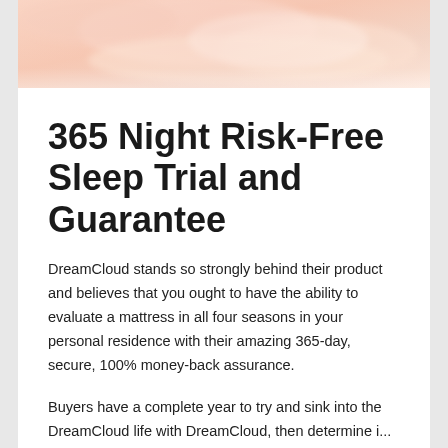[Figure (photo): Close-up photo of a person sleeping peacefully on soft, warm-toned pillows and bedding]
365 Night Risk-Free Sleep Trial and Guarantee
DreamCloud stands so strongly behind their product and believes that you ought to have the ability to evaluate a mattress in all four seasons in your personal residence with their amazing 365-day, secure, 100% money-back assurance.
Buyers have a complete year to try and sink into the DreamCloud life with DreamCloud, then determine i...